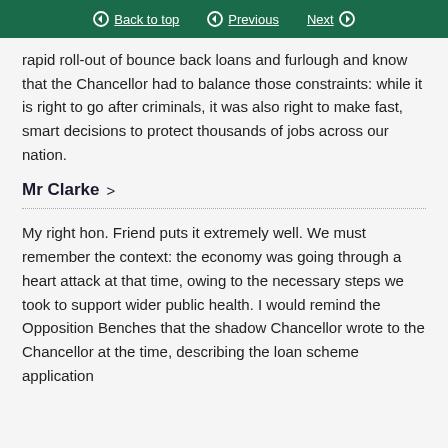Back to top   Previous   Next
rapid roll-out of bounce back loans and furlough and know that the Chancellor had to balance those constraints: while it is right to go after criminals, it was also right to make fast, smart decisions to protect thousands of jobs across our nation.
Mr Clarke >
My right hon. Friend puts it extremely well. We must remember the context: the economy was going through a heart attack at that time, owing to the necessary steps we took to support wider public health. I would remind the Opposition Benches that the shadow Chancellor wrote to the Chancellor at the time, describing the loan scheme application